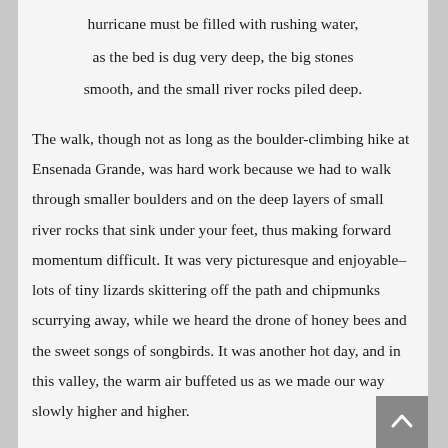hurricane must be filled with rushing water,
as the bed is dug very deep, the big stones
smooth, and the small river rocks piled deep.
The walk, though not as long as the boulder-climbing hike at Ensenada Grande, was hard work because we had to walk through smaller boulders and on the deep layers of small river rocks that sink under your feet, thus making forward momentum difficult. It was very picturesque and enjoyable–lots of tiny lizards skittering off the path and chipmunks scurrying away, while we heard the drone of honey bees and the sweet songs of songbirds. It was another hot day, and in this valley, the warm air buffeted us as we made our way slowly higher and higher.